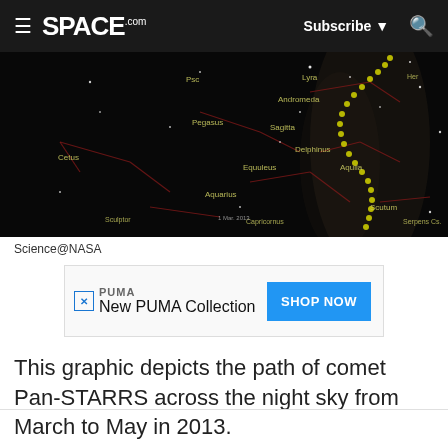SPACE.com | Subscribe | Search
[Figure (photo): Star map showing the path of comet Pan-STARRS across the night sky, with constellation names labeled in yellow/white text on a dark background. A dotted yellow curved path traces the comet's trajectory.]
Science@NASA
[Figure (other): Advertisement: PUMA - New PUMA Collection - SHOP NOW button]
This graphic depicts the path of comet Pan-STARRS across the night sky from March to May in 2013.